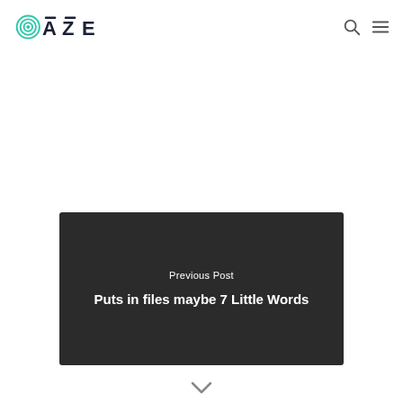OAZE
Previous Post
Puts in files maybe 7 Little Words